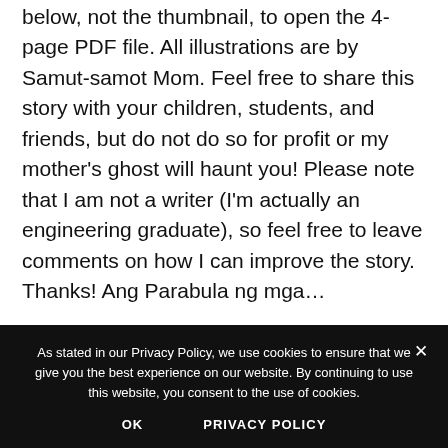of the first page is shown below. Click on the link (link) below, not the thumbnail, to open the 4-page PDF file. All illustrations are by Samut-samot Mom. Feel free to share this story with your children, students, and friends, but do not do so for profit or my mother's ghost will haunt you! Please note that I am not a writer (I'm actually an engineering graduate), so feel free to leave comments on how I can improve the story. Thanks! Ang Parabula ng mga…
Continue Reading ›
As stated in our Privacy Policy, we use cookies to ensure that we give you the best experience on our website. By continuing to use this website, you consent to the use of cookies.
OK   PRIVACY POLICY